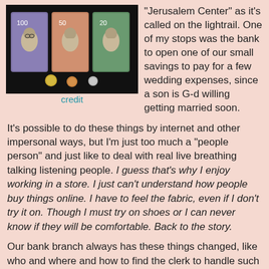[Figure (photo): Photo of Israeli currency banknotes (100, 50, 20 shekel notes) and coins arranged on a dark background]
credit
"Jerusalem Center" as it's called on the lightrail.  One of my stops was the bank to open one of our small savings to pay for a few wedding expenses, since a son is G-d willing getting married soon.
It's possible to do these things by internet and other impersonal ways, but I'm just too much a "people person" and just like to deal with real live breathing talking listening people.  I guess that's why I enjoy working in a store.  I just can't understand how people buy things online.  I have to feel the fabric, even if I don't try it on.  Though I must try on shoes or I can never know if they will be comfortable.  Back to the story.
Our bank branch always has these things changed, like who and where and how to find the clerk to handle such matters.  I went to where I had taken care of things just over a year ago.  The clerk there sent me to the other side of the bank.  Over there they told me to go upstairs.  There a cute little